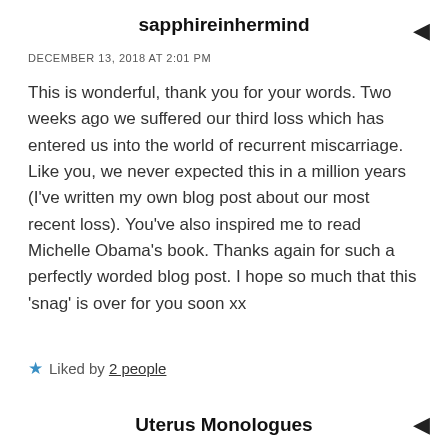sapphireinhermind
DECEMBER 13, 2018 AT 2:01 PM
This is wonderful, thank you for your words. Two weeks ago we suffered our third loss which has entered us into the world of recurrent miscarriage. Like you, we never expected this in a million years (I've written my own blog post about our most recent loss). You've also inspired me to read Michelle Obama's book. Thanks again for such a perfectly worded blog post. I hope so much that this 'snag' is over for you soon xx
Liked by 2 people
Uterus Monologues